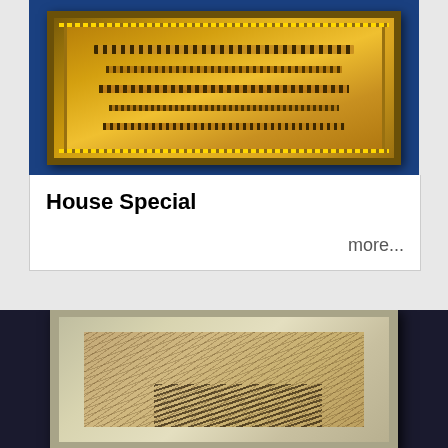[Figure (photo): A framed Islamic calligraphy artwork with ornate gold frame on a blue background, showing Arabic text in rows.]
House Special
more...
[Figure (photo): A framed artwork with dense Islamic calligraphy text filling the canvas, silver/gold frame on dark background.]